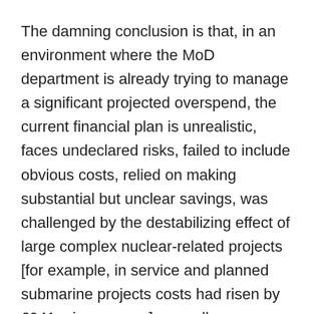The damning conclusion is that, in an environment where the MoD department is already trying to manage a significant projected overspend, the current financial plan is unrealistic, faces undeclared risks, failed to include obvious costs, relied on making substantial but unclear savings, was challenged by the destabilizing effect of large complex nuclear-related projects [for example, in service and planned submarine projects costs had risen by £941m in one year], as well as factored-in wrong exchange rates and masking currency fluctuations impacts.
What does all that mean for out armed forces then? Well, most certainly result in that either they won't be able to do their job, or they won't be effective, or people will die unnecessarily.
Who bears the responsibility for these shortcomings then?